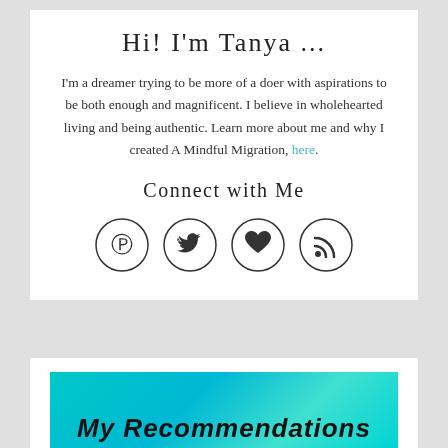Hi! I'm Tanya ...
I'm a dreamer trying to be more of a doer with aspirations to be both enough and magnificent. I believe in wholehearted living and being authentic. Learn more about me and why I created A Mindful Migration, here.
Connect with Me
[Figure (illustration): Four circular social media icons: Pinterest (P symbol), Twitter (bird), heart/Bloglovin, and RSS feed symbol]
[Figure (illustration): Teal/cyan painted banner background with bold italic text 'My Recommendations' partially visible at bottom of page]